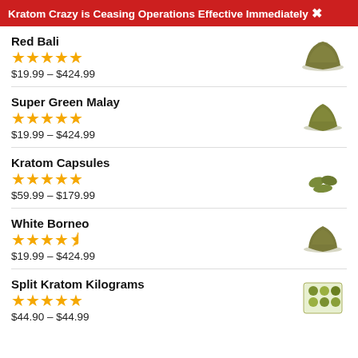Kratom Crazy is Ceasing Operations Effective Immediately ✖
Red Bali
★★★★★
$19.99 – $424.99
Super Green Malay
★★★★★
$19.99 – $424.99
Kratom Capsules
★★★★★
$59.99 – $179.99
White Borneo
★★★★½
$19.99 – $424.99
Split Kratom Kilograms
★★★★★
$44.90 – $44.99